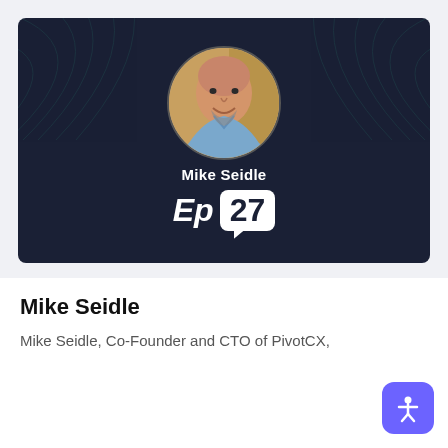[Figure (photo): Podcast episode card with dark navy background, concentric arc/ripple decorations on sides, circular photo of Mike Seidle (bald man with beard, blue shirt), his name in white text, and 'Ep 27' in large bold text with white badge]
Mike Seidle
Mike Seidle, Co-Founder and CTO of PivotCX,